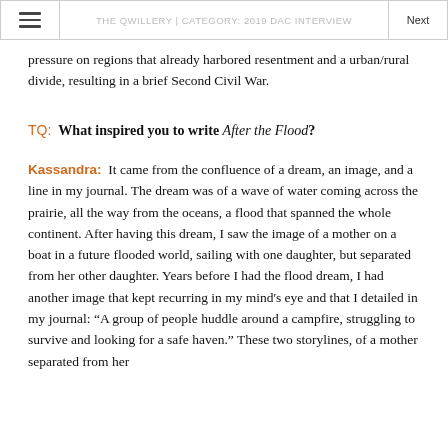THE QWILLERY | CATEGORY: 2019 DAC INTERVIEW
pressure on regions that already harbored resentment and a urban/rural divide, resulting in a brief Second Civil War.
TQ:  What inspired you to write After the Flood?
Kassandra:  It came from the confluence of a dream, an image, and a line in my journal. The dream was of a wave of water coming across the prairie, all the way from the oceans, a flood that spanned the whole continent. After having this dream, I saw the image of a mother on a boat in a future flooded world, sailing with one daughter, but separated from her other daughter. Years before I had the flood dream, I had another image that kept recurring in my mind's eye and that I detailed in my journal: “A group of people huddle around a campfire, struggling to survive and looking for a safe haven.” These two storylines, of a mother separated from her